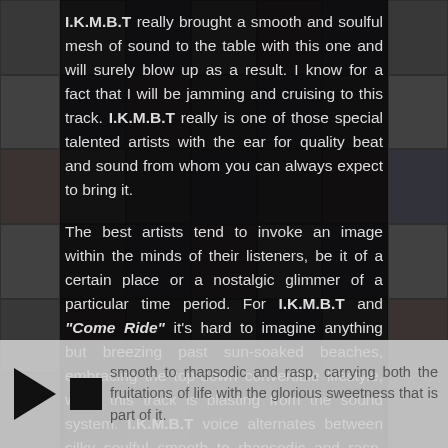I.K.M.B.T really brought a smooth and soulful mesh of sound to the table with this one and will surely blow up as a result. I know for a fact that I will be jamming and cruising to this track. I.K.M.B.T really is one of those special talented artists with the ear for quality beat and sound from whom you can always expect to bring it.
The best artists tend to invoke an image within the minds of their listeners, be it of a certain place or a nostalgic glimmer of a particular time period. For I.K.M.B.T and "Come Ride" it's hard to imagine anything but breezing past sun-soaked beaches, embracing the top-down convertible lifestyle, while this track is blasting from the sound system. I.K.M.B.T voice alternates between silky soulful smooth to rhapsodic and rasp, carrying both the fruitations of life with the glorious sweetness that is part of it.